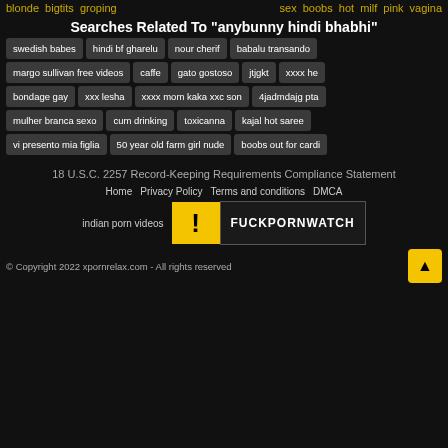blonde bigtits groping   sex boobs hot milf pink vagina
Searches Related To "anybunny hindi bhabhi"
swedish babes
hindi bf gharelu
nour cherif
babalu transando
margo sullivan free videos
caffe
gato gostoso
jtjgkt
xxxx he
bondage gay
xxx lesha
xxxx mom kaka xxc son
4jadmdajg pta
mulher branca sexo
cum drinking
toxicanna
kajal hot saree
vi presento mia figlia
50 year old farm girl nude
boobs out for cardi
18 U.S.C. 2257 Record-Keeping Requirements Compliance Statement
Home   Privacy Policy   Terms and conditions   DMCA
indian porn videos
[Figure (logo): FUCKPORNWATCH warning logo banner]
© Copyright 2022 xpornrelax.com - All rights reserved